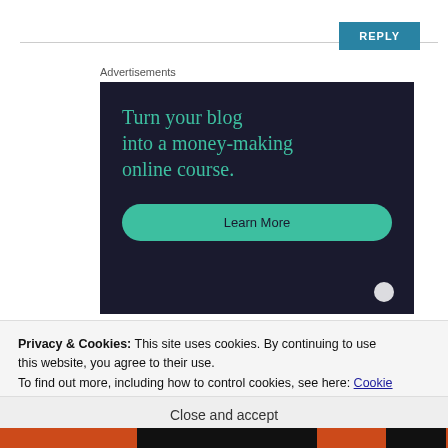[Figure (other): REPLY button with horizontal rule line above it]
Advertisements
[Figure (infographic): Advertisement banner on dark navy background reading 'Turn your blog into a money-making online course.' with a teal 'Learn More' button]
Privacy & Cookies: This site uses cookies. By continuing to use this website, you agree to their use.
To find out more, including how to control cookies, see here: Cookie Policy
Close and accept